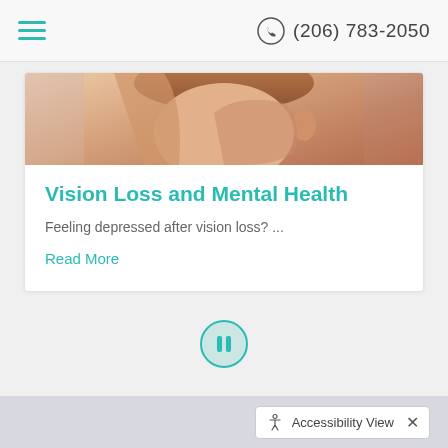(206) 783-2050
[Figure (photo): Partial view of a person's face/ear area, cropped at top of card]
Vision Loss and Mental Health
Feeling depressed after vision loss? ...
Read More
[Figure (other): Pause button icon (circle with two vertical bars) in teal color, centered on page]
Accessibility View